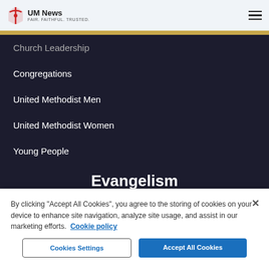UM News FAIR. FAITHFUL. TRUSTED.
Church Leadership
Congregations
United Methodist Men
United Methodist Women
Young People
Evangelism
Church Growth
By clicking "Accept All Cookies", you agree to the storing of cookies on your device to enhance site navigation, analyze site usage, and assist in our marketing efforts.  Cookie policy
Cookies Settings
Accept All Cookies